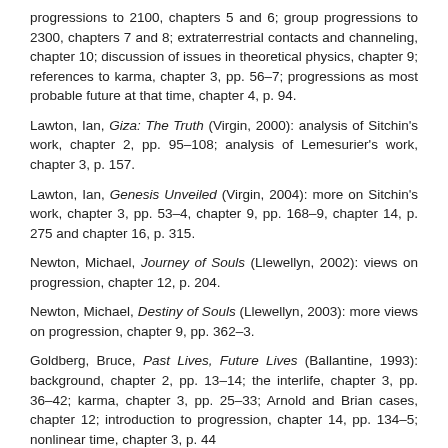progressions to 2100, chapters 5 and 6; group progressions to 2300, chapters 7 and 8; extraterrestrial contacts and channeling, chapter 10; discussion of issues in theoretical physics, chapter 9; references to karma, chapter 3, pp. 56–7; progressions as most probable future at that time, chapter 4, p. 94.
Lawton, Ian, Giza: The Truth (Virgin, 2000): analysis of Sitchin's work, chapter 2, pp. 95–108; analysis of Lemesurier's work, chapter 3, p. 157.
Lawton, Ian, Genesis Unveiled (Virgin, 2004): more on Sitchin's work, chapter 3, pp. 53–4, chapter 9, pp. 168–9, chapter 14, p. 275 and chapter 16, p. 315.
Newton, Michael, Journey of Souls (Llewellyn, 2002): views on progression, chapter 12, p. 204.
Newton, Michael, Destiny of Souls (Llewellyn, 2003): more views on progression, chapter 9, pp. 362–3.
Goldberg, Bruce, Past Lives, Future Lives (Ballantine, 1993): background, chapter 2, pp. 13–14; the interlife, chapter 3, pp. 36–42; karma, chapter 3, pp. 25–33; Arnold and Brian cases, chapter 12; introduction to progression, chapter 14, pp. 134–5; nonlinear time, chapter 3, p. 44